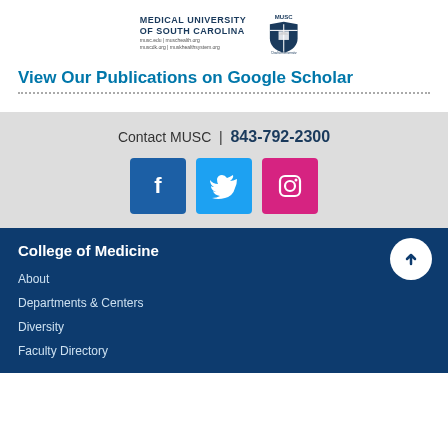[Figure (logo): Medical University of South Carolina logo with MUSC shield icon and website URLs]
View Our Publications on Google Scholar
Contact MUSC | 843-792-2300
[Figure (infographic): Social media icons: Facebook (blue), Twitter (cyan), Instagram (pink/magenta)]
College of Medicine
About
Departments & Centers
Diversity
Faculty Directory